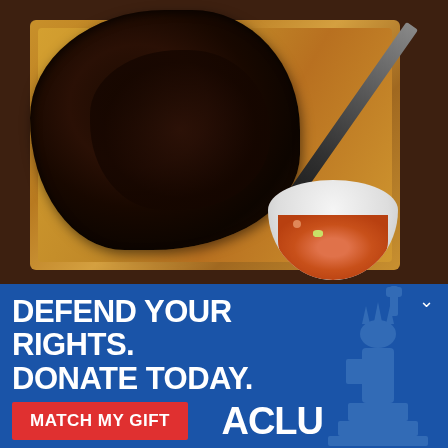[Figure (photo): Overhead photo of a large grilled/smoked meat on a wooden cutting board with a knife and a bowl of salsa/pico de gallo, on a dark wooden table background]
DEFEND YOUR RIGHTS.
DONATE TODAY.
MATCH MY GIFT
ACLU